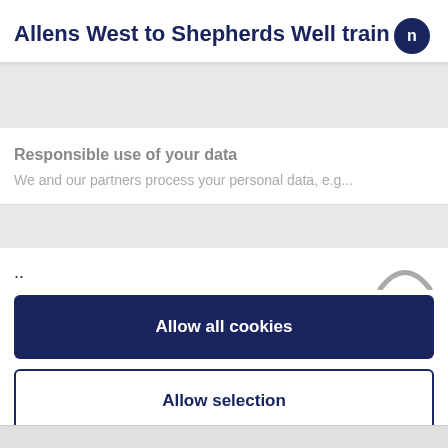Allens West to Shepherds Well train
[Figure (logo): Circular dark navy logo with letter n in white]
Responsible use of your data
We and our partners process your personal data, e.g...
..
Allow all cookies
Allow selection
Use necessary cookies only
Powered by Cookiebot by Usercentrics